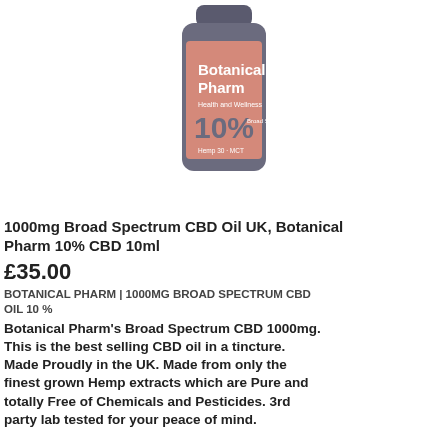[Figure (photo): Product photo of a small dark glass bottle with a salmon/pink label reading 'Botanical Pharm Health and Wellness 10% Broad Spectrum Oil Hemp 30 MCT']
1000mg Broad Spectrum CBD Oil UK, Botanical Pharm 10% CBD 10ml
£35.00
BOTANICAL PHARM | 1000MG BROAD SPECTRUM CBD OIL 10 %
Botanical Pharm's Broad Spectrum CBD 1000mg. This is the best selling CBD oil in a tincture. Made Proudly in the UK. Made from only the finest grown Hemp extracts which are Pure and totally Free of Chemicals and Pesticides. 3rd party lab tested for your peace of mind.